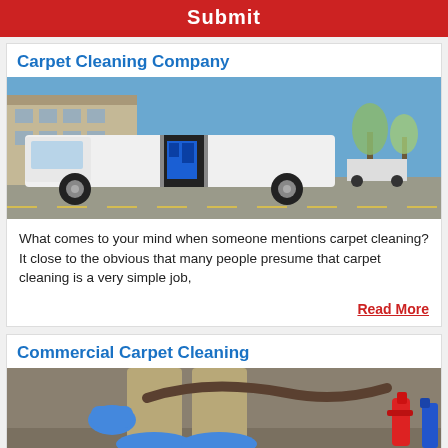[Figure (other): Red Submit button bar at top of page]
Carpet Cleaning Company
[Figure (photo): Photo of a white cargo van with side door open showing blue carpet cleaning equipment inside, parked in a parking lot with apartment building and trees in background]
What comes to your mind when someone mentions carpet cleaning? It close to the obvious that many people presume that carpet cleaning is a very simple job,
Read More
Commercial Carpet Cleaning
[Figure (photo): Photo showing a person wearing blue rubber gloves and blue protective shoe covers crouching on carpet, with cleaning spray bottles visible on the right]